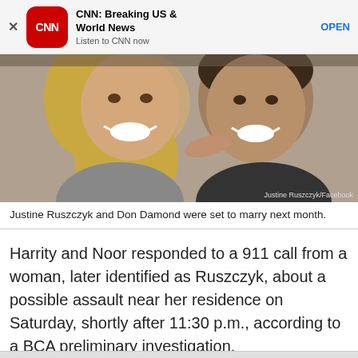[Figure (screenshot): CNN app advertisement banner with CNN logo, title 'CNN: Breaking US & World News', subtitle 'Listen to CNN now', and OPEN button]
[Figure (photo): Close-up selfie photo of two people smiling, Justine Ruszczyk and Don Damond. Photo credit: Justine Ruszczyk/Facebook]
Justine Ruszczyk and Don Damond were set to marry next month.
Harrity and Noor responded to a 911 call from a woman, later identified as Ruszczyk, about a possible assault near her residence on Saturday, shortly after 11:30 p.m., according to a BCA preliminary investigation.